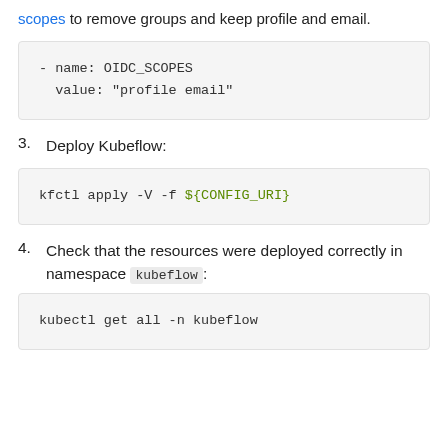scopes to remove groups and keep profile and email.
- name: OIDC_SCOPES
  value: "profile email"
3. Deploy Kubeflow:
kfctl apply -V -f ${CONFIG_URI}
4. Check that the resources were deployed correctly in namespace kubeflow:
kubectl get all -n kubeflow